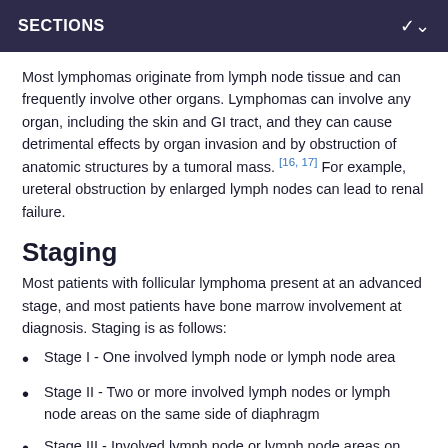SECTIONS
Most lymphomas originate from lymph node tissue and can frequently involve other organs. Lymphomas can involve any organ, including the skin and GI tract, and they can cause detrimental effects by organ invasion and by obstruction of anatomic structures by a tumoral mass. [16, 17] For example, ureteral obstruction by enlarged lymph nodes can lead to renal failure.
Staging
Most patients with follicular lymphoma present at an advanced stage, and most patients have bone marrow involvement at diagnosis. Staging is as follows:
Stage I - One involved lymph node or lymph node area
Stage II - Two or more involved lymph nodes or lymph node areas on the same side of diaphragm
Stage III - Involved lymph node or lymph node areas on both sides of diaphragm